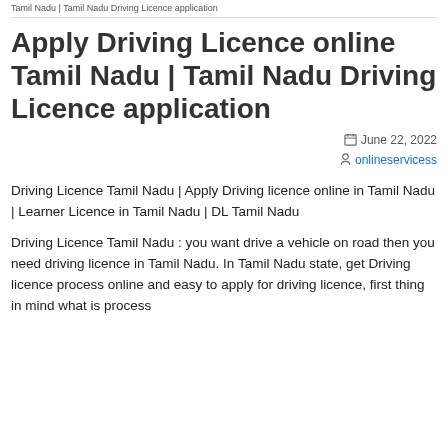Tamil Nadu | Tamil Nadu Driving Licence application
Apply Driving Licence online Tamil Nadu | Tamil Nadu Driving Licence application
June 22, 2022
onlineservicess
Driving Licence Tamil Nadu | Apply Driving licence online in Tamil Nadu | Learner Licence in Tamil Nadu | DL Tamil Nadu
Driving Licence Tamil Nadu : you want drive a vehicle on road then you need driving licence in Tamil Nadu. In Tamil Nadu state, get Driving licence process online and easy to apply for driving licence, first thing in mind what is process